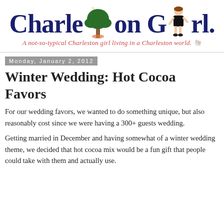[Figure (logo): Charleston Girl blog logo with stylized text, palm tree illustration, crescent moon, and cartoon girl figure]
A not-so-typical Charleston girl living in a Charleston world.
Monday, January 2, 2012
Winter Wedding: Hot Cocoa Favors
For our wedding favors, we wanted to do something unique, but also reasonably cost since we were having a 300+ guests wedding.
Getting married in December and having somewhat of a winter wedding theme, we decided that hot cocoa mix would be a fun gift that people could take with them and actually use.